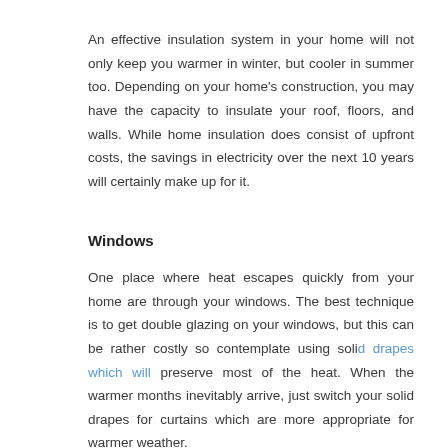An effective insulation system in your home will not only keep you warmer in winter, but cooler in summer too. Depending on your home's construction, you may have the capacity to insulate your roof, floors, and walls. While home insulation does consist of upfront costs, the savings in electricity over the next 10 years will certainly make up for it.
Windows
One place where heat escapes quickly from your home are through your windows. The best technique is to get double glazing on your windows, but this can be rather costly so contemplate using solid drapes which will preserve most of the heat. When the warmer months inevitably arrive, just switch your solid drapes for curtains which are more appropriate for warmer weather.